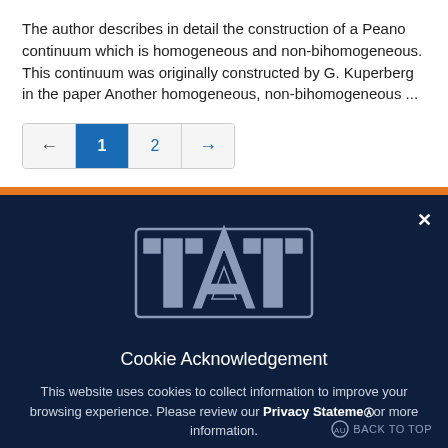The author describes in detail the construction of a Peano continuum which is homogeneous and non-bihomogeneous. This continuum was originally constructed by G. Kuperberg in the paper Another homogeneous, non-bihomogeneous ...
[Figure (other): Pagination control showing back arrow, page 1 (active/highlighted in blue), page 2, and forward arrow]
[Figure (logo): Auburn University athletic logo - stylized interlocking 'AU' letters in grey on dark navy background]
Cookie Acknowledgement
This website uses cookies to collect information to improve your browsing experience. Please review our Privacy Statement for more information.